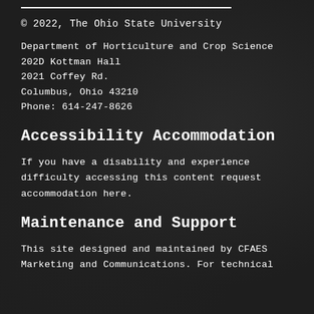© 2022, The Ohio State University
Department of Horticulture and Crop Science
202D Kottman Hall
2021 Coffey Rd.
Columbus, Ohio 43210
Phone: 614-247-8626
Accessibility Accommodation
If you have a disability and experience difficulty accessing this content request accommodation here.
Maintenance and Support
This site designed and maintained by CFAES Marketing and Communications. For technical